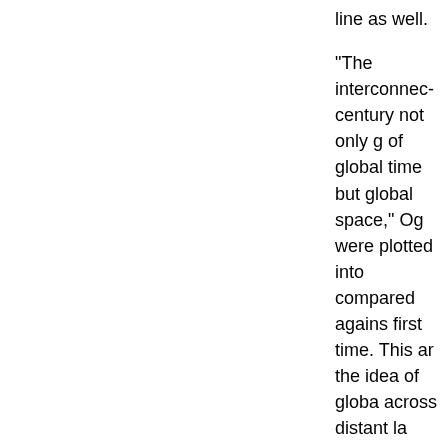line as well.
"The interconnec century not only g of global time but global space," Og were plotted into compared agains first time. This ar the idea of globa across distant la
Global Time S
This is when the synchronization w with a master-sla clock were conne other “slave” clo
“As many clocks independent clo